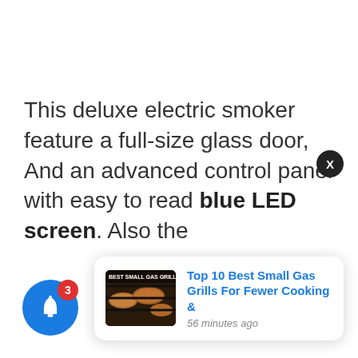This deluxe electric smoker feature a full-size glass door, And an advanced control panel with easy to read blue LED screen. Also the
[Figure (screenshot): Notification card showing 'Top 10 Best Small Gas Grills For Fewer Cooking &' with thumbnail image of grilled food and timestamp '56 minutes ago']
[Figure (illustration): Blue notification bell icon with red badge showing number 3]